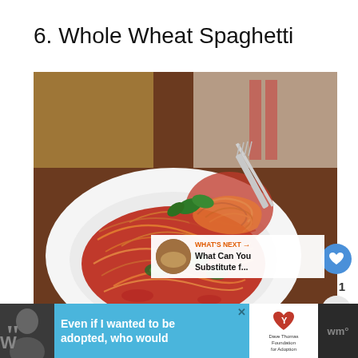6. Whole Wheat Spaghetti
[Figure (photo): A white plate of whole wheat spaghetti with tomato sauce, green peppers, and basil, with a fork twirling pasta above the plate. Raw spaghetti in background.]
WHAT'S NEXT → What Can You Substitute f...
[Figure (screenshot): Advertisement banner at bottom: black background with person photo, blue section with text 'Even if I wanted to be adopted, who would', Dave Thomas Foundation for Adoption logo, and 'whole' text on right]